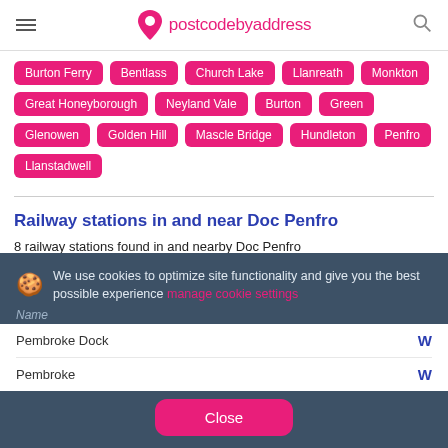postcodebyaddress
Burton Ferry
Bentlass
Church Lake
Llanreath
Monkton
Great Honeyborough
Neyland Vale
Burton
Green
Glenowen
Golden Hill
Mascle Bridge
Hundleton
Penfro
Llanstadwell
Railway stations in and near Doc Penfro
8 railway stations found in and nearby Doc Penfro
We use cookies to optimize site functionality and give you the best possible experience manage cookie settings
| Name |  |
| --- | --- |
| Pembroke Dock | W |
| Pembroke | W |